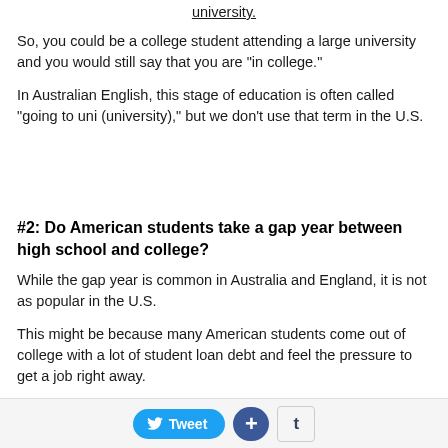university.
So, you could be a college student attending a large university and you would still say that you are "in college."
In Australian English, this stage of education is often called "going to uni (university)," but we don't use that term in the U.S.
#2: Do American students take a gap year between high school and college?
While the gap year is common in Australia and England, it is not as popular in the U.S.
This might be because many American students come out of college with a lot of student loan debt and feel the pressure to get a job right away.